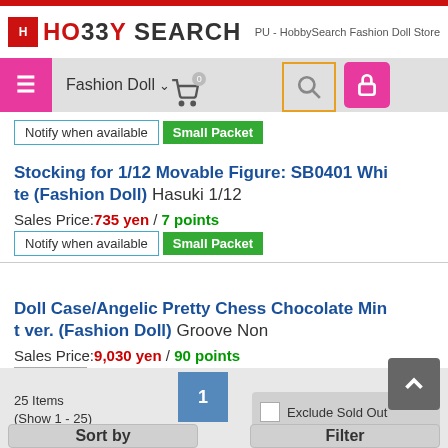HO33Y SEARCH — PU - HobbySearch Fashion Doll Store
[Figure (screenshot): Navigation bar with hamburger menu, Fashion Doll category dropdown, search icon, lock icon, and cart icon with 0 badge]
Notify when available | Small Packet
Stocking for 1/12 Movable Figure: SB0401 White (Fashion Doll) Hasuki 1/12
Sales Price: 735 yen / 7 points
Notify when available | Small Packet
Doll Case/Angelic Pretty Chess Chocolate Mint ver. (Fashion Doll) Groove Non
Sales Price: 9,030 yen / 90 points
Sold Out | Small Packet
1
25 Items
(Show 1 - 25)
Exclude Sold Out
Sort by
Filter